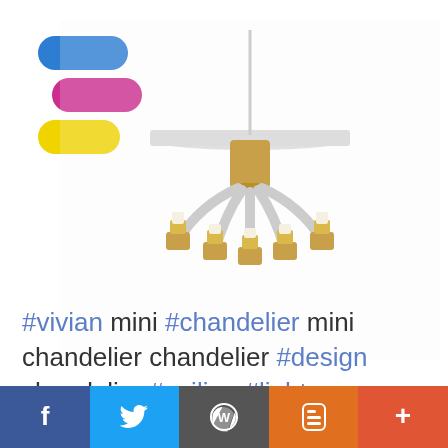[Figure (logo): Colorful logo with three pill/oval shapes stacked: blue on top, magenta in middle, yellow on bottom, offset to the right]
[Figure (photo): A mini chandelier with brass fittings, clear curved arms, and candle-style bulb holders, hanging from a white ceiling plate]
#vivian mini #chandelier mini chandelier chandelier #design chandelier #ceiling #lights
[Figure (infographic): Social media bar with icons: Facebook (dark blue), Twitter (blue), WordPress (gray), Blogger (orange), Plus (red-orange)]